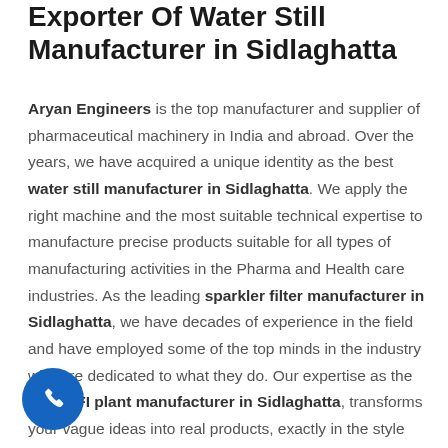Exporter Of Water Still Manufacturer in Sidlaghatta
Aryan Engineers is the top manufacturer and supplier of pharmaceutical machinery in India and abroad. Over the years, we have acquired a unique identity as the best water still manufacturer in Sidlaghatta. We apply the right machine and the most suitable technical expertise to manufacture precise products suitable for all types of manufacturing activities in the Pharma and Health care industries. As the leading sparkler filter manufacturer in Sidlaghatta, we have decades of experience in the field and have employed some of the top minds in the industry who are dedicated to what they do. Our expertise as the best WFI plant manufacturer in Sidlaghatta, transforms your vague ideas into real products, exactly in the style and design you desire.
[Figure (other): Blue circular phone call button icon in the bottom-left corner]